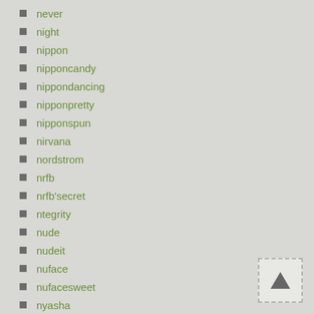never
night
nippon
nipponcandy
nippondancing
nipponpretty
nipponspun
nirvana
nordstrom
nrfb
nrfb'secret
ntegrity
nude
nudeit
nuface
nufacesweet
nyasha
obsession
ocean